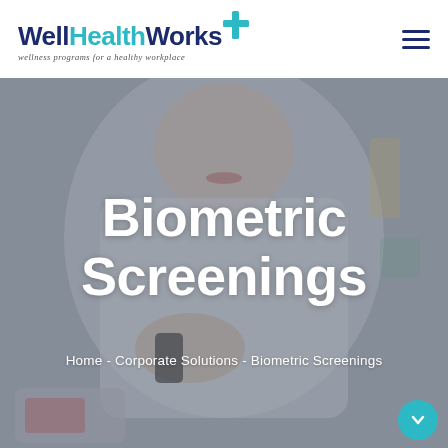[Figure (logo): WellHealthWorks logo with teal cross symbol and tagline 'wellness programs for a healthy workplace']
[Figure (photo): Background hero image of a smiling healthcare professional in a white lab coat holding a medical device, with blurred background. Dimmed/overlaid with semi-transparent dark filter.]
Biometric Screenings
Home - Corporate Solutions - Biometric Screenings